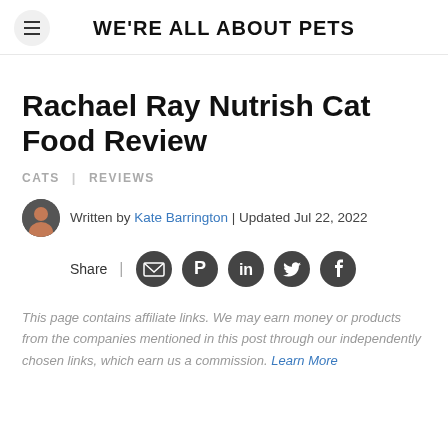WE'RE ALL ABOUT PETS
Rachael Ray Nutrish Cat Food Review
CATS | REVIEWS
Written by Kate Barrington | Updated Jul 22, 2022
Share
This page contains affiliate links. We may earn money or products from the companies mentioned in this post through our independently chosen links, which earn us a commission. Learn More